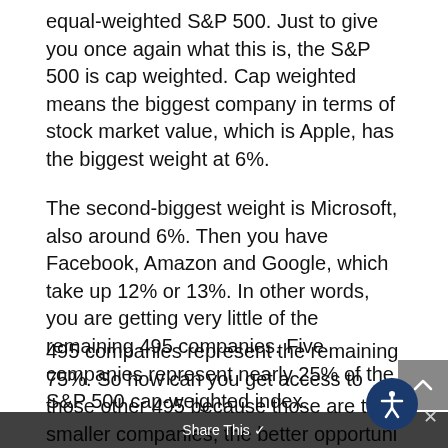equal-weighted S&P 500. Just to give you once again what this is, the S&P 500 is cap weighted. Cap weighted means the biggest company in terms of stock market value, which is Apple, has the biggest weight at 6%.
The second-biggest weight is Microsoft, also around 6%. Then you have Facebook, Amazon and Google, which take up 12% or 13%. In other words, you are getting very little of the remaining 495 companies. Five companies represent nearly 25% of the S&P 500 cap-weighted index.
495 companies represent the remaining 75%. So how can you get access to those other 495 because those are the smaller companies, the better opportuni the better growth. How do it? You can do